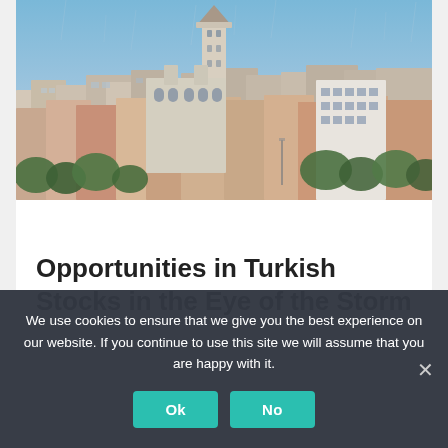[Figure (photo): Aerial/elevated photo of Istanbul cityscape featuring the Galata Tower prominently in the center-top, surrounded by densely packed historic buildings with terracotta rooftops, white apartment buildings, and trees in the foreground, shot at dusk/golden hour with a blue sky.]
Opportunities in Turkish Stocks in the Eye of the Storm
We use cookies to ensure that we give you the best experience on our website. If you continue to use this site we will assume that you are happy with it.